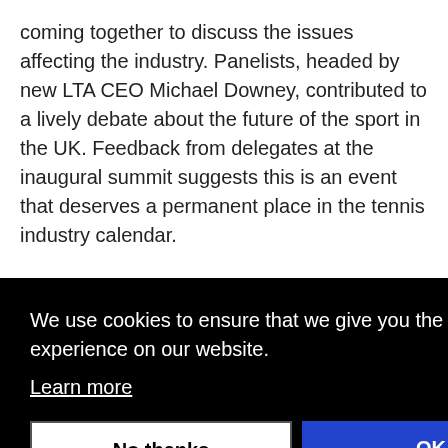coming together to discuss the issues affecting the industry. Panelists, headed by new LTA CEO Michael Downey, contributed to a lively debate about the future of the sport in the UK. Feedback from delegates at the inaugural summit suggests this is an event that deserves a permanent place in the tennis industry calendar.
TIA UK News is read by major figures in all areas of the industry and it was Watson who grasped digital media as a cost-efficient and engaging way for a member association to communicate with its audience, when print, while
[Figure (screenshot): Cookie consent overlay on a dark black background with text 'We use cookies to ensure that we give you the best experience on our website.' and a 'Learn more' link, plus two buttons: 'No thanks' (white) and 'OK' (blue).]
ck-
ent
s been
newby
Crouch, Travel Leads, BLM LLP, Perkins Slade and